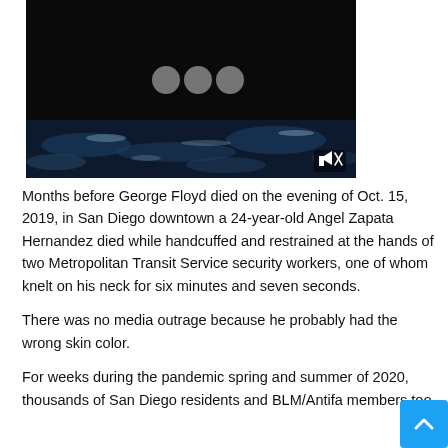[Figure (screenshot): A video thumbnail showing a dark/black upper half with three gray loading dots in the center, and a lower half showing aerial view of ocean/coastline at night. A muted speaker icon is visible in the bottom-right corner of the video.]
Months before George Floyd died on the evening of Oct. 15, 2019, in San Diego downtown a 24-year-old Angel Zapata Hernandez died while handcuffed and restrained at the hands of two Metropolitan Transit Service security workers, one of whom knelt on his neck for six minutes and seven seconds.
There was no media outrage because he probably had the wrong skin color.
For weeks during the pandemic spring and summer of 2020, thousands of San Diego residents and BLM/Antifa members too